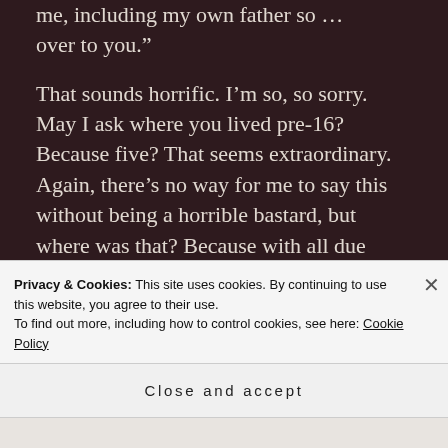me, including my own father so … over to you."

That sounds horrific. I'm so, so sorry. May I ask where you lived pre-16? Because five? That seems extraordinary. Again, there's no way for me to say this without being a horrible bastard, but where was that? Because with all due respect, both myself and every male I socialise with find the idea of rape disgusting and reprehensible, so you'll understand if
Privacy & Cookies: This site uses cookies. By continuing to use this website, you agree to their use.
To find out more, including how to control cookies, see here: Cookie Policy
Close and accept